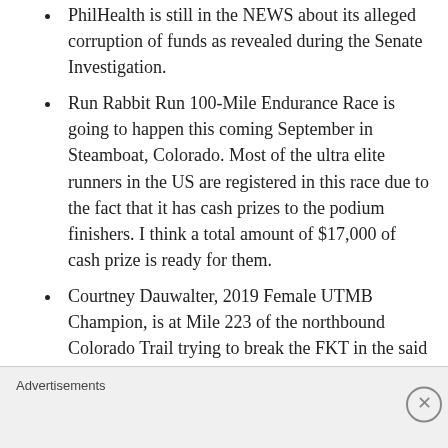PhilHealth is still in the NEWS about its alleged corruption of funds as revealed during the Senate Investigation.
Run Rabbit Run 100-Mile Endurance Race is going to happen this coming September in Steamboat, Colorado. Most of the ultra elite runners in the US are registered in this race due to the fact that it has cash prizes to the podium finishers. I think a total amount of $17,000 of cash prize is ready for them.
Courtney Dauwalter, 2019 Female UTMB Champion, is at Mile 223 of the northbound Colorado Trail trying to break the FKT in the said trail. She has still 270 miles from her current location.
Advertisements